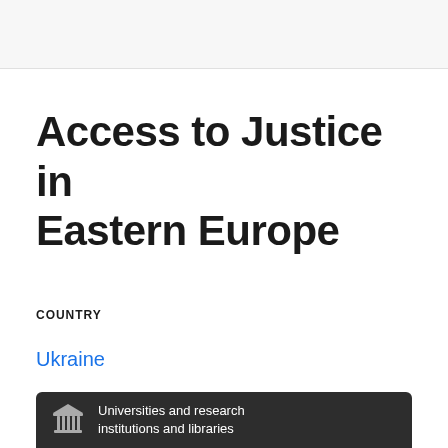Access to Justice in Eastern Europe
COUNTRY
Ukraine
Universities and research institutions and libraries